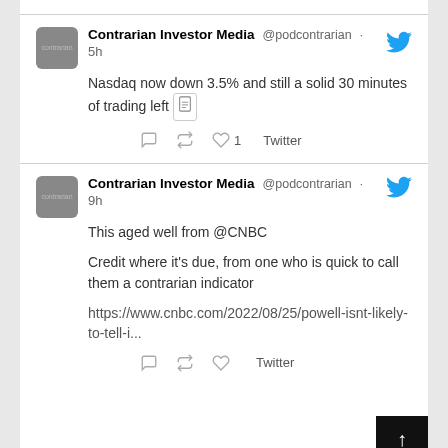[Figure (screenshot): Screenshot of two tweets from Contrarian Investor Media (@podcontrarian). First tweet posted 5h ago: 'Nasdaq now down 3.5% and still a solid 30 minutes of trading left [document icon]'. Second tweet posted 9h ago: 'This aged well from @CNBC

Credit where it's due, from one who is quick to call them a contrarian indicator

https://www.cnbc.com/2022/08/25/powell-isnt-likely-to-tell-i...' Each tweet has reply, retweet, like, and Twitter action buttons. Bottom right has a black scroll-up button with white arrow.]